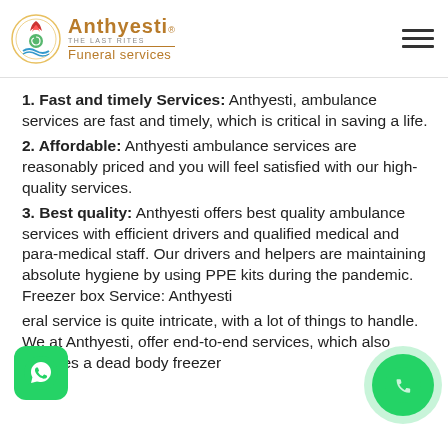Anthyesti Funeral services
1. Fast and timely Services: Anthyesti, ambulance services are fast and timely, which is critical in saving a life.
2. Affordable: Anthyesti ambulance services are reasonably priced and you will feel satisfied with our high-quality services.
3. Best quality: Anthyesti offers best quality ambulance services with efficient drivers and qualified medical and para-medical staff. Our drivers and helpers are maintaining absolute hygiene by using PPE kits during the pandemic. Freezer box Service: Anthyesti
eral service is quite intricate, with a lot of things to handle. We at Anthyesti, offer end-to-end services, which also includes a dead body freezer